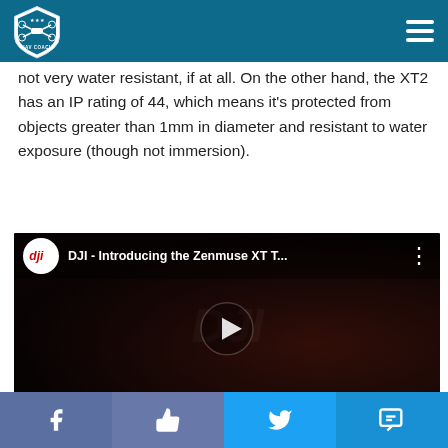UAV Coach
not very water resistant, if at all. On the other hand, the XT2 has an IP rating of 44, which means it's protected from objects greater than 1mm in diameter and resistant to water exposure (though not immersion).
[Figure (screenshot): Embedded YouTube video: DJI - Introducing the Zenmuse XT T... with DJI logo, play button, and dark drone background]
Social share bar: Facebook, Like, Twitter, SMS/Chat